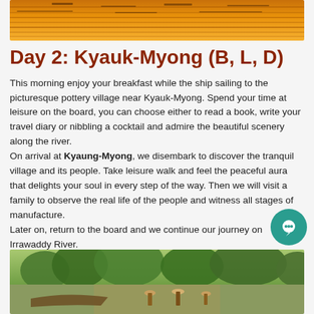[Figure (photo): Top portion showing golden orange reflection of sunset on water, partial view]
Day 2: Kyauk-Myong (B, L, D)
This morning enjoy your breakfast while the ship sailing to the picturesque pottery village near Kyauk-Myong. Spend your time at leisure on the board, you can choose either to read a book, write your travel diary or nibbling a cocktail and admire the beautiful scenery along the river.
On arrival at Kyaung-Myong, we disembark to discover the tranquil village and its people. Take leisure walk and feel the peaceful aura that delights your soul in every step of the way. Then we will visit a family to observe the real life of the people and witness all stages of manufacture.
Later on, return to the board and we continue our journey on Irrawaddy River.
[Figure (photo): Bottom photo showing a riverside village scene with lush green trees and people in hats near a boat]